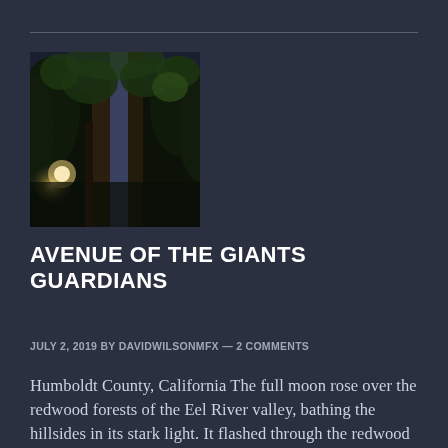[Figure (photo): Tall redwood trees photographed from below looking up, with sunlight visible through the canopy on a dark, dramatic background]
AVENUE OF THE GIANTS GUARDIANS
JULY 2, 2019 By DAVIDWILSONMFX — 2 COMMENTS
Humboldt County, California The full moon rose over the redwood forests of the Eel River valley, bathing the hillsides in its stark light. It flashed through the redwood tree